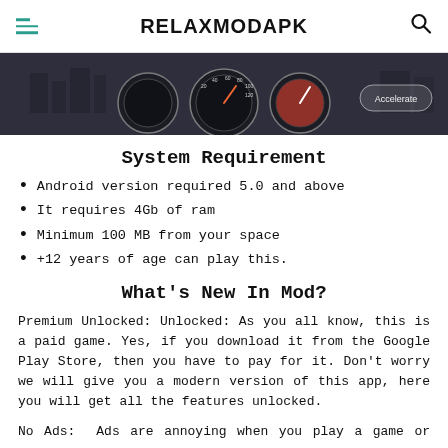RELAXMODAPK
[Figure (screenshot): Game screenshot showing motorcycle speedometer gauges and dashboard with city background and 'Accelerate' button]
System Requirement
Android version required 5.0 and above
It requires 4Gb of ram
Minimum  100 MB from your space
+12 years of age can play this.
What's New In Mod?
Premium Unlocked: Unlocked: As you all know, this is a paid game. Yes, if you download it from the Google Play Store, then you have to pay for it. Don't worry we will give you a modern version of this app, here you will get all the features unlocked.
No Ads:  Ads are annoying when you play a game or use an